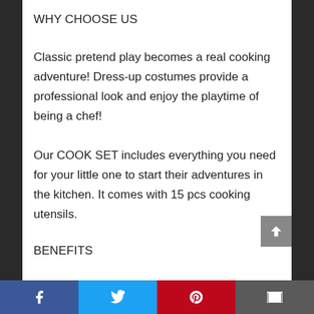WHY CHOOSE US
Classic pretend play becomes a real cooking adventure! Dress-up costumes provide a professional look and enjoy the playtime of being a chef!
Our COOK SET includes everything you need for your little one to start their adventures in the kitchen. It comes with 15 pcs cooking utensils.
BENEFITS
Facebook | Twitter | Pinterest | Email